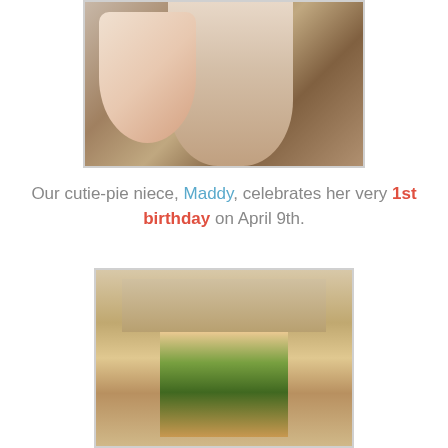[Figure (photo): Top portion of photo showing a baby/toddler on carpet in white outfit with floral leggings]
Our cutie-pie niece, Maddy, celebrates her very 1st birthday on April 9th.
[Figure (photo): Man in green Hulk t-shirt celebrating with fists raised in doorway]